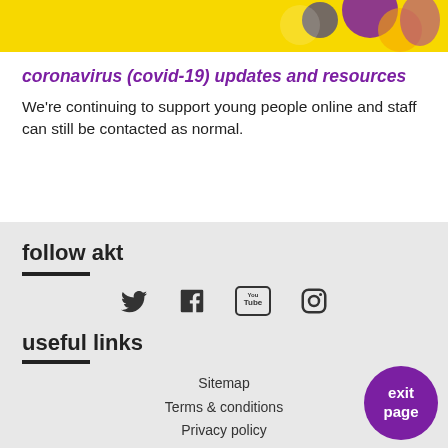[Figure (illustration): Yellow banner with illustrated characters on a yellow background at the top of the page]
coronavirus (covid-19) updates and resources
We're continuing to support young people online and staff can still be contacted as normal.
follow akt
[Figure (other): Social media icons: Twitter, Facebook, YouTube, Instagram]
useful links
Sitemap
Terms & conditions
Privacy policy